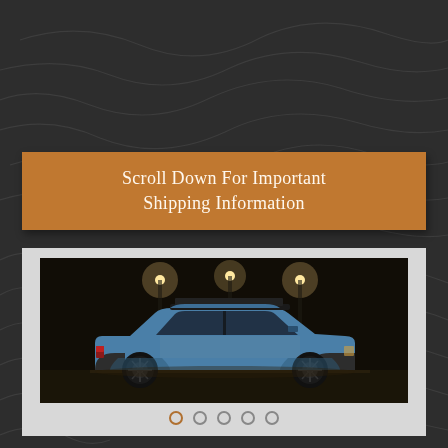[Figure (illustration): Dark background with topographic contour lines pattern]
Scroll Down For Important Shipping Information
[Figure (photo): A blue SUV/crossover with roof rack photographed at night under street lights, side profile view]
[Figure (other): Navigation dots row - 5 circles, first one highlighted/active]